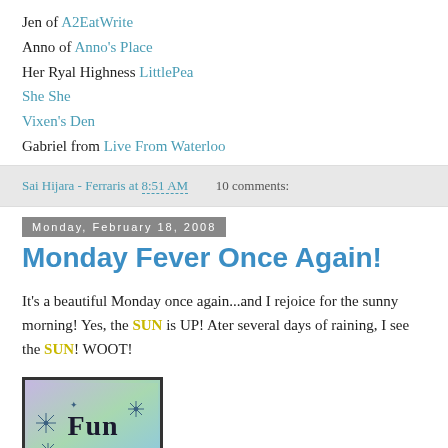Jen of A2EatWrite
Anno of Anno's Place
Her Ryal Highness LittlePea
She She
Vixen's Den
Gabriel from Live From Waterloo
Sai Hijara - Ferraris at 8:51 AM   10 comments:
Monday, February 18, 2008
Monday Fever Once Again!
It's a beautiful Monday once again...and I rejoice for the sunny morning! Yes, the SUN is UP! Ater several days of raining, I see the SUN! WOOT!
[Figure (illustration): A decorative card image with colorful background showing the word 'Fun' in gothic lettering with star/snowflake decorations]